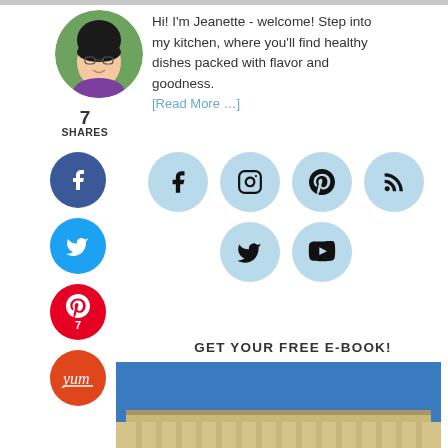[Figure (photo): Top gray bar/banner image cropped at top of page]
[Figure (photo): Circular profile photo of Jeanette, an Asian woman smiling, wearing a purple top with green foliage background]
Hi! I'm Jeanette - welcome! Step into my kitchen, where you'll find healthy dishes packed with flavor and goodness.
[Read More …]
7
SHARES
[Figure (infographic): Social share buttons on left sidebar: Facebook (blue), Twitter (light blue), Pinterest (red) with 7, Yummly (orange)]
[Figure (infographic): Social media icon circles: Facebook, Instagram, Pinterest, RSS in row 1; Twitter, YouTube in row 2 (light blue background circles)]
GET YOUR FREE E-BOOK!
[Figure (photo): Partial photo of a building (Lincoln Memorial or similar classical building) against a blue sky]